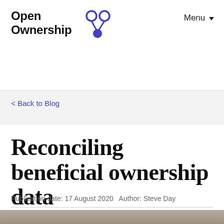Open Ownership | Menu
< Back to Blog
Reconciling beneficial ownership data
Publication date: 17 August 2020   Author: Steve Day
[Figure (photo): Partial photo of an office/desk environment, shown as a strip at the bottom of the page]